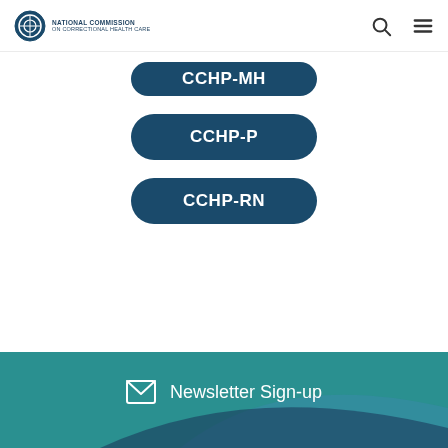National Commission on Correctional Health Care
[Figure (other): CCHP-MH button (partially visible at top, dark teal pill-shaped button)]
[Figure (other): CCHP-P button (dark teal pill-shaped button)]
[Figure (other): CCHP-RN button (dark teal pill-shaped button)]
Newsletter Sign-up